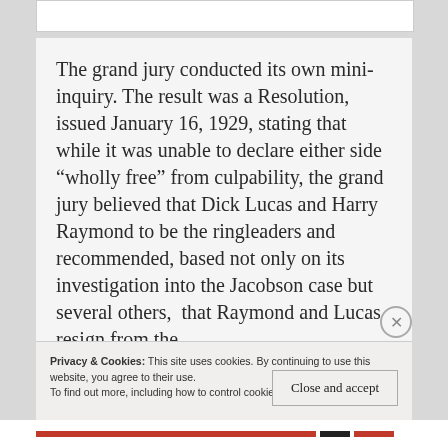The grand jury conducted its own mini-inquiry. The result was a Resolution, issued January 16, 1929, stating that while it was unable to declare either side “wholly free” from culpability, the grand jury believed that Dick Lucas and Harry Raymond to be the ringleaders and recommended, based not only on its investigation into the Jacobson case but several others, that Raymond and Lucas resign from the
Privacy & Cookies: This site uses cookies. By continuing to use this website, you agree to their use.
To find out more, including how to control cookies, see here: Cookie Policy
Close and accept